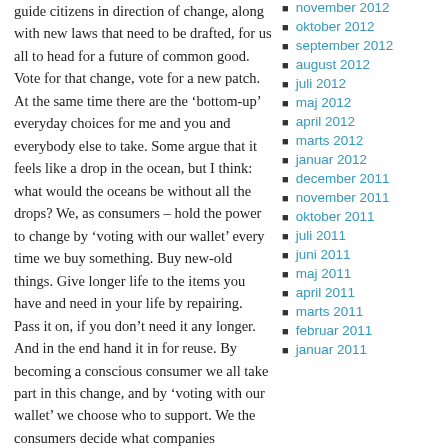guide citizens in direction of change, along with new laws that need to be drafted, for us all to head for a future of common good. Vote for that change, vote for a new patch. At the same time there are the 'bottom-up' everyday choices for me and you and everybody else to take. Some argue that it feels like a drop in the ocean, but I think: what would the oceans be without all the drops? We, as consumers – hold the power to change by 'voting with our wallet' every time we buy something. Buy new-old things. Give longer life to the items you have and need in your life by repairing. Pass it on, if you don't need it any longer. And in the end hand it in for reuse. By becoming a conscious consumer we all take part in this change, and by 'voting with our wallet' we choose who to support. We the consumers decide what companies
november 2012
oktober 2012
september 2012
august 2012
juli 2012
maj 2012
april 2012
marts 2012
januar 2012
december 2011
november 2011
oktober 2011
juli 2011
juni 2011
maj 2011
april 2011
marts 2011
februar 2011
januar 2011